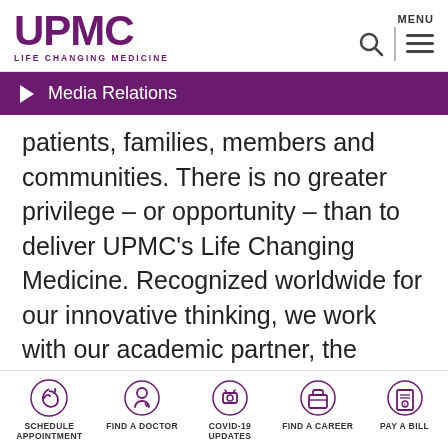UPMC LIFE CHANGING MEDICINE
Media Relations
patients, families, members and communities. There is no greater privilege – or opportunity – than to deliver UPMC's Life Changing Medicine. Recognized worldwide for our innovative thinking, we work with our academic partner, the University of Pittsburgh, to translate
SCHEDULE APPOINTMENT | FIND A DOCTOR | COVID-19 UPDATES | FIND A CAREER | PAY A BILL